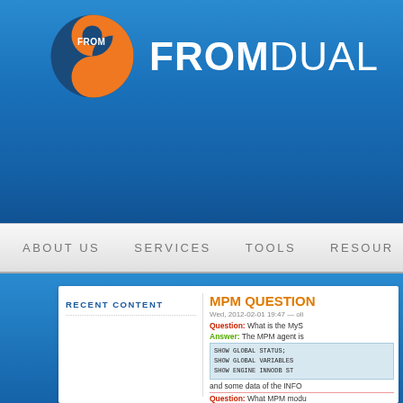[Figure (logo): FromDual logo: orange and dark blue yin-yang style circular icon with FROM/DUAL text]
FROMDUAL
ABOUT US   SERVICES   TOOLS   RESOUR...
RECENT CONTENT
MPM QUESTION
Wed, 2012-02-01 19:47 — oli
Question: What is the MyS...
Answer: The MPM agent is...
SHOW GLOBAL STATUS;
SHOW GLOBAL VARIABLES;
SHOW ENGINE INNODB ST...
and some data of the INFO...
Question: What MPM modu...